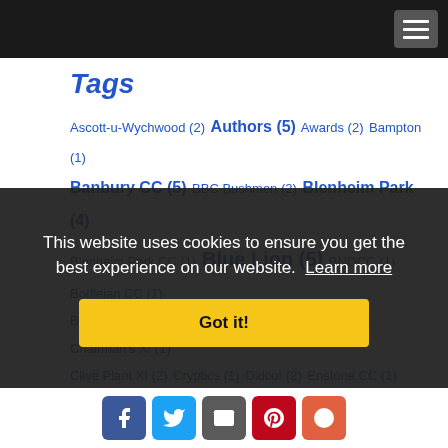Tags
Ascott-u-Wychwood (2) Authors (5) Awards (2) Bampton (1) Banbury CC (5) BBC Bushmen (2) Blenheim Park (4) Blenheim Park CC (1) Blue Lion (5) BNOCC (1) Bodleian CC (1) Britwell Salome (1) Buckingham (1) Captain's XI (1) Chairman's XI (1) Clive Plant XI (2) Cryptics (1) Didcot (2) Enstone CC (1) Far From The MCC (6) Gloucestershire Gipsies (6) Golf (5) Harrow Wayfarers (2) Harry Baldwin's Occasionals (3) IBM (1) Iffley Village (2) Invalids (4) Isis CC (2) Islip (2) Jesters (8) Law Society (6) Leigh (1) Melbourne XXIX (1) Napton CC (1) Nets (1)
This website uses cookies to ensure you get the best experience on our website. Learn more
Got it!